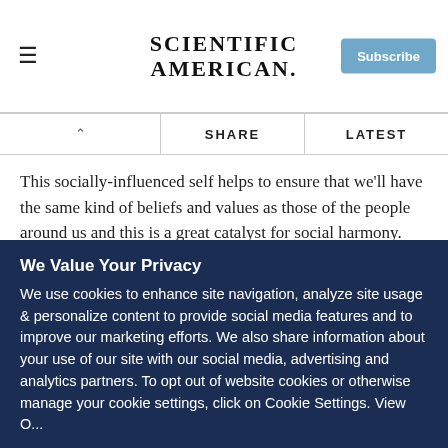SCIENTIFIC AMERICAN
This socially-influenced self helps to ensure that we'll have the same kind of beliefs and values as those of the people around us and this is a great catalyst for social harmony.
What does this research tell us about how we should be raising our children, and what does it mean for education?
I think the most important thing is to educate our children about what we are learning about the true role of our social
We Value Your Privacy
We use cookies to enhance site navigation, analyze site usage & personalize content to provide social media features and to improve our marketing efforts. We also share information about your use of our site with our social media, advertising and analytics partners. To opt out of website cookies or otherwise manage your cookie settings, click on Cookie Settings. View O...